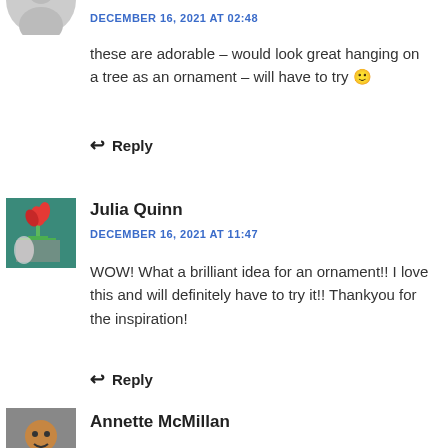[Figure (photo): Partial circular user avatar (greyed out) at top left]
DECEMBER 16, 2021 AT 02:48
these are adorable – would look great hanging on a tree as an ornament – will have to try 🙂
Reply
[Figure (photo): Square avatar image of Julia Quinn showing flowers/tulips painting on teal background]
Julia Quinn
DECEMBER 16, 2021 AT 11:47
WOW! What a brilliant idea for an ornament!! I love this and will definitely have to try it!! Thankyou for the inspiration!
Reply
[Figure (photo): Square avatar image of Annette McMillan]
Annette McMillan